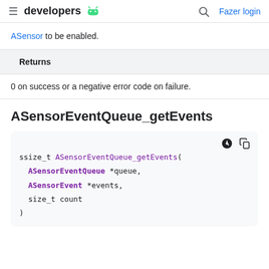developers
ASensor to be enabled.
Returns
0 on success or a negative error code on failure.
ASensorEventQueue_getEvents
ssize_t ASensorEventQueue_getEvents(
  ASensorEventQueue *queue,
  ASensorEvent *events,
  size_t count
)